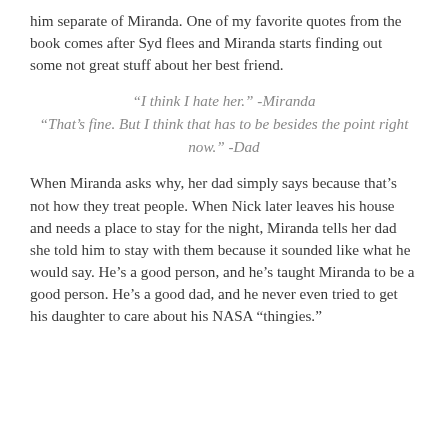him separate of Miranda. One of my favorite quotes from the book comes after Syd flees and Miranda starts finding out some not great stuff about her best friend.
“I think I hate her.” -Miranda
“That’s fine. But I think that has to be besides the point right now.” -Dad
When Miranda asks why, her dad simply says because that’s not how they treat people. When Nick later leaves his house and needs a place to stay for the night, Miranda tells her dad she told him to stay with them because it sounded like what he would say. He’s a good person, and he’s taught Miranda to be a good person. He’s a good dad, and he never even tried to get his daughter to care about his NASA “thingies.”